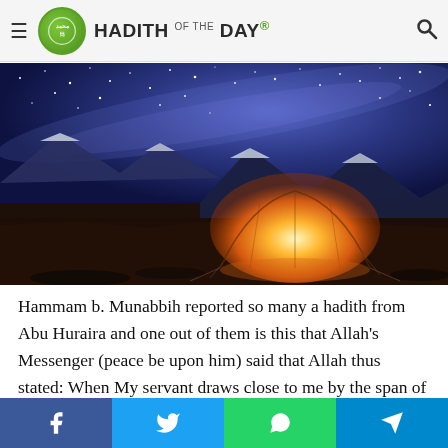HADITH OF THE DAY
[Figure (photo): A glowing orange tent illuminated from within set against a dramatic night sky with the Milky Way visible, snow-capped mountains in the background, dark rocky landscape in foreground.]
Hammam b. Munabbih reported so many a hadith from Abu Huraira and one out of them is this that Allah's Messenger (peace be upon him) said that Allah thus stated: When My servant draws close to me by the span of a palm, I draw close